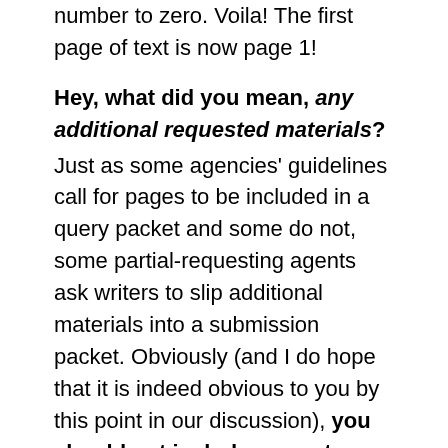number to zero. Voila! The first page of text is now page 1!
Hey, what did you mean, any additional requested materials?
Just as some agencies' guidelines call for pages to be included in a query packet and some do not, some partial-requesting agents ask writers to slip additional materials into a submission packet. Obviously (and I do hope that it is indeed obvious to you by this point in our discussion), you should not include any extra materials unless the agent asks for them — but it never hurts to